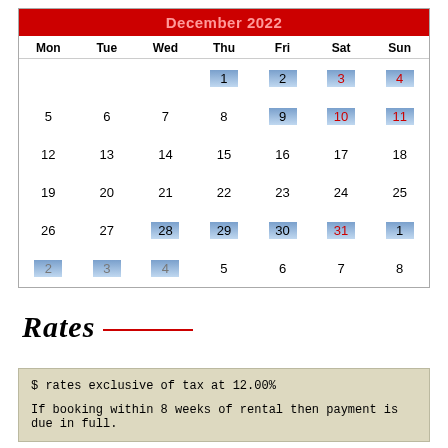| Mon | Tue | Wed | Thu | Fri | Sat | Sun |
| --- | --- | --- | --- | --- | --- | --- |
|  |  |  | 1 | 2 | 3 | 4 |
| 5 | 6 | 7 | 8 | 9 | 10 | 11 |
| 12 | 13 | 14 | 15 | 16 | 17 | 18 |
| 19 | 20 | 21 | 22 | 23 | 24 | 25 |
| 26 | 27 | 28 | 29 | 30 | 31 | 1 |
| 2 | 3 | 4 | 5 | 6 | 7 | 8 |
Rates
$ rates exclusive of tax at 12.00%
If booking within 8 weeks of rental then payment is due in full.